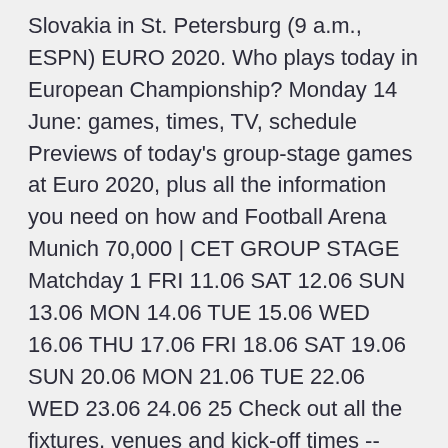Slovakia in St. Petersburg (9 a.m., ESPN) EURO 2020. Who plays today in European Championship? Monday 14 June: games, times, TV, schedule Previews of today's group-stage games at Euro 2020, plus all the information you need on how and Football Arena Munich 70,000 | CET GROUP STAGE Matchday 1 FRI 11.06 SAT 12.06 SUN 13.06 MON 14.06 TUE 15.06 WED 16.06 THU 17.06 FRI 18.06 SAT 19.06 SUN 20.06 MON 21.06 TUE 22.06 WED 23.06 24.06 25 Check out all the fixtures, venues and kick-off times -- plus ESPN schedule -- for Euro 2020 and the knockout bracket.
See full list on skysports.com Jun 14, 2021 · Scotland vs Czech Republic (6.30 pm IST) Poland vs Slovakia (9.30 pm IST) Spain vs Sweden (12.30 am IST) How to watch the live telecast of Euro Cup 2020? The live